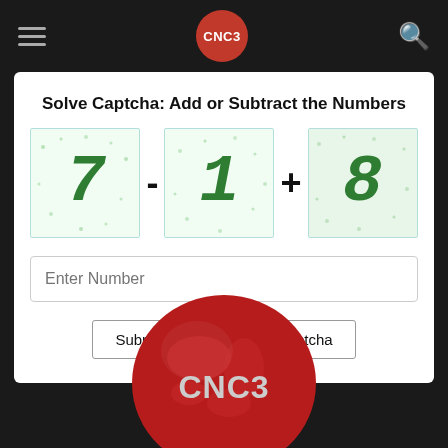CNC3 navigation bar with hamburger menu, CNC3 logo, and search icon
Solve Captcha: Add or Subtract the Numbers
[Figure (screenshot): CAPTCHA showing numbers 7 - 1 + 8 in handwritten green style with noisy background]
Enter Number
Submit | Refresh Captcha
[Figure (logo): CNC3 globe logo — red globe with CNC3 text in grey letters]